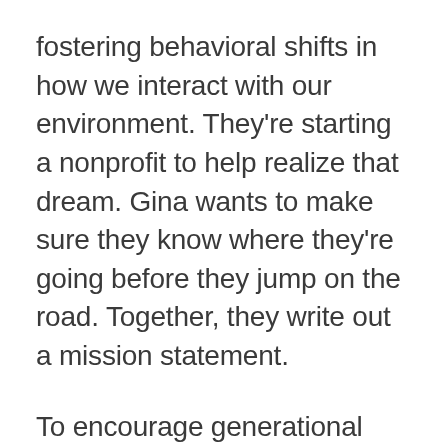fostering behavioral shifts in how we interact with our environment. They're starting a nonprofit to help realize that dream. Gina wants to make sure they know where they're going before they jump on the road. Together, they write out a mission statement.
To encourage generational change, Gina and Lucy want their organization to ensure that every child is educated about environmental stewardship and healthy practices for sustainability. They decide their core values are sustainability, diversity, and...